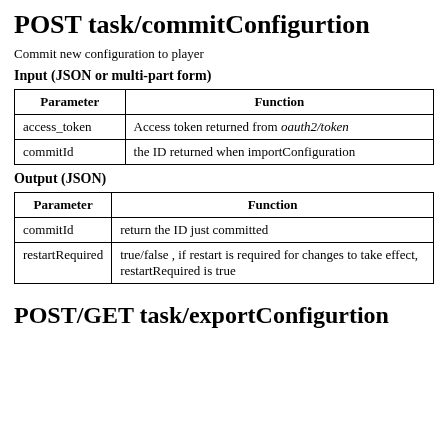POST task/commitConfigurtion
Commit new configuration to player
Input (JSON or multi-part form)
| Parameter | Function |
| --- | --- |
| access_token | Access token returned from oauth2/token |
| commitId | the ID returned when importConfiguration |
Output (JSON)
| Parameter | Function |
| --- | --- |
| commitId | return the ID just committed |
| restartRequired | true/false , if restart is required for changes to take effect, restartRequired is true |
POST/GET task/exportConfigurtion